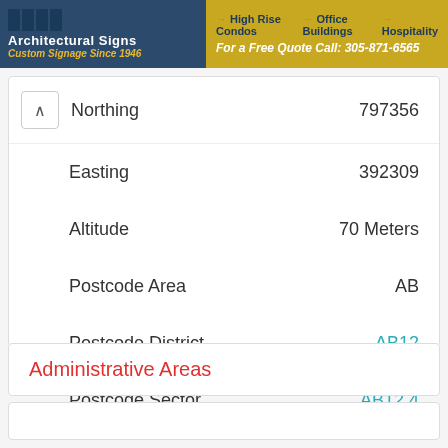[Figure (screenshot): Architectural Signs company banner with logo, navigation links (High Rise Condos, Office Buildings, Hospitality) and phone number for a free quote: 305-871-6565]
| Field | Value |
| --- | --- |
| Northing | 797356 |
| Easting | 392309 |
| Altitude | 70 Meters |
| Postcode Area | AB |
| Postcode District | AB12 |
| Postcode Sector | AB12 4 |
Administrative Areas